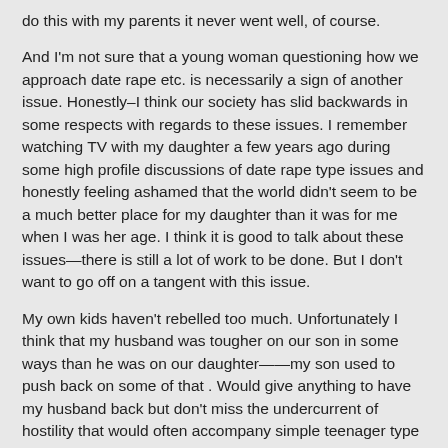do this with my parents it never went well, of course.
And I'm not sure that a young woman questioning how we approach date rape etc. is necessarily a sign of another issue. Honestly–I think our society has slid backwards in some respects with regards to these issues. I remember watching TV with my daughter a few years ago during some high profile discussions of date rape type issues and honestly feeling ashamed that the world didn't seem to be a much better place for my daughter than it was for me when I was her age. I think it is good to talk about these issues—there is still a lot of work to be done. But I don't want to go off on a tangent with this issue.
My own kids haven't rebelled too much. Unfortunately I think that my husband was tougher on our son in some ways than he was on our daughter——my son used to push back on some of that . Would give anything to have my husband back but don't miss the undercurrent of hostility that would often accompany simple teenager type requests.